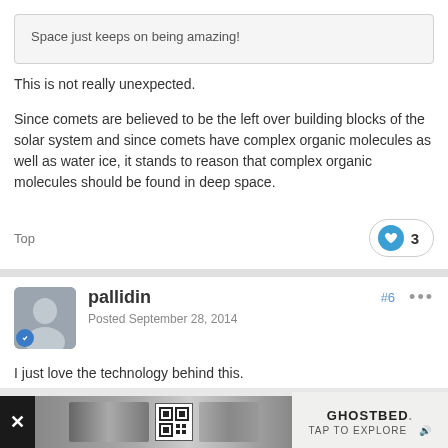Space just keeps on being amazing!
This is not really unexpected.
Since comets are believed to be the left over building blocks of the solar system and since comets have complex organic molecules as well as water ice, it stands to reason that complex organic molecules should be found in deep space.
Top   ❤ 3
pallidin
Posted September 28, 2014
#6
I just love the technology behind this.
[Figure (infographic): Advertisement bar at the bottom with GhostBed branding and QR code]